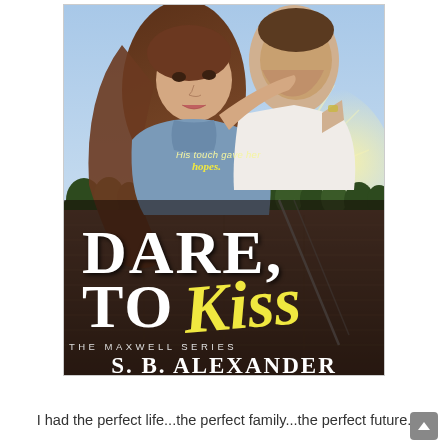[Figure (illustration): Book cover for 'Dare to Kiss' by S.B. Alexander. The Maxwell Series. Shows a young woman with long brown hair in a blue denim jacket embracing a man in a white shirt. Background shows a wooden dock/pier with a sunset and treeline. Tagline text reads 'His touch gave her hopes.' Title 'DARE TO Kiss' in large white serif and script font. 'THE MAXWELL SERIES' in small caps below title. 'S. B. ALEXANDER' in large bold serif text at bottom.]
I had the perfect life...the perfect family...the perfect future.